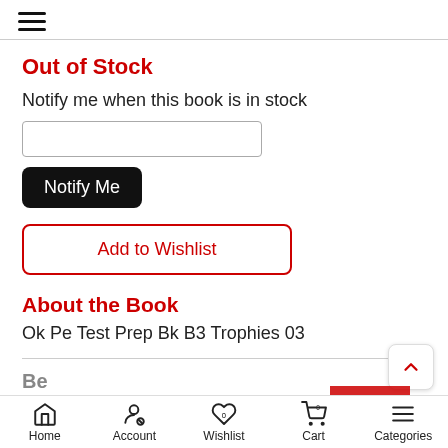≡ (hamburger menu)
Out of Stock
Notify me when this book is in stock
Notify Me (button)
Add to Wishlist
About the Book
Ok Pe Test Prep Bk B3 Trophies 03
Home  Account  Wishlist 0  Cart 0  Categories